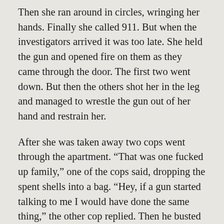Then she ran around in circles, wringing her hands. Finally she called 911. But when the investigators arrived it was too late. She held the gun and opened fire on them as they came through the door. The first two went down. But then the others shot her in the leg and managed to wrestle the gun out of her hand and restrain her.
After she was taken away two cops went through the apartment. “That was one fucked up family,” one of the cops said, dropping the spent shells into a bag. “Hey, if a gun started talking to me I would have done the same thing,” the other cop replied. Then he busted out laughing. After first helping himself to some beer nuts in a bowl, he turned and went out of the apartment. The other cop looked over at the gun and steak knife which had been placed on the counter